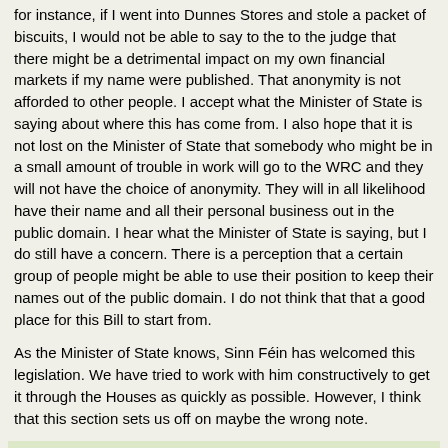for instance, if I went into Dunnes Stores and stole a packet of biscuits, I would not be able to say to the to the judge that there might be a detrimental impact on my own financial markets if my name were published. That anonymity is not afforded to other people. I accept what the Minister of State is saying about where this has come from. I also hope that it is not lost on the Minister of State that somebody who might be in a small amount of trouble in work will go to the WRC and they will not have the choice of anonymity. They will in all likelihood have their name and all their personal business out in the public domain. I hear what the Minister of State is saying, but I do still have a concern. There is a perception that a certain group of people might be able to use their position to keep their names out of the public domain. I do not think that that a good place for this Bill to start from.
As the Minister of State knows, Sinn Féin has welcomed this legislation. We have tried to work with him constructively to get it through the Houses as quickly as possible. However, I think that this section sets us off on maybe the wrong note.
Robert Troy (Longford-Westmeath, Fianna Fail)
Link to this: Individually | In context | Oireachtas source
I thank Deputy O'Reilly. I genuinely acknowledge that she has been extremely constructive from the get-go. However, as I said already, we are not talking about the courts here. We are talking